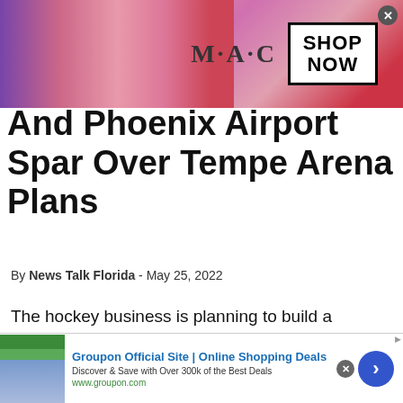[Figure (advertisement): MAC Cosmetics advertisement banner showing lipsticks with 'SHOP NOW' button]
And Phoenix Airport Spar Over Tempe Arena Plans
By News Talk Florida - May 25, 2022
The hockey business is planning to build a Tempe arena-village.
[Figure (advertisement): Groupon Official Site | Online Shopping Deals advertisement. Discover & Save with Over 300k of the Best Deals. www.groupon.com]